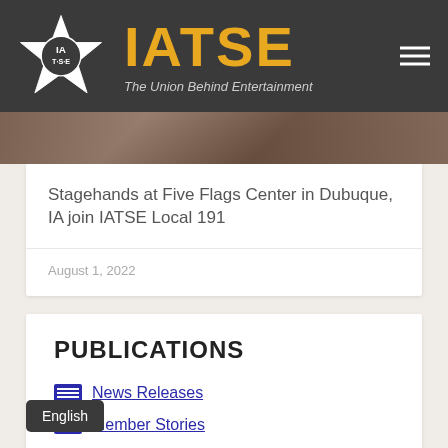IATSE — The Union Behind Entertainment
[Figure (photo): Street-level building exterior photo strip, partially visible]
Stagehands at Five Flags Center in Dubuque, IA join IATSE Local 191
August 1, 2022
PUBLICATIONS
News Releases
Member Stories
IATSE Official Bulletins